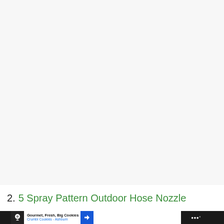[Figure (photo): Large white/light gray blank area representing a product image placeholder]
2. 5 Spray Pattern Outdoor Hose Nozzle
[Figure (screenshot): Advertisement bar at bottom: Gourmet, Fresh, Big Cookies - Crumbl Cookies - Ashburn, with navigation arrow icon and app icon on right]